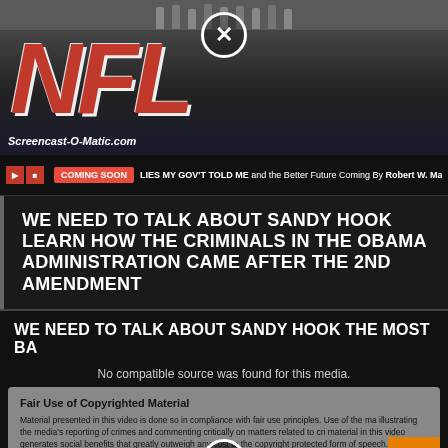[Figure (screenshot): NFL logo/banner image with people standing above it, watermarked with Screencast-O-Matic.com. A white circle with X close button visible at top center.]
Screencast-O-Matic.com
COMING SOON  LIES MY GOV'T TOLD ME and the Better Future Coming By Robert W. Malone
WE NEED TO TALK ABOUT SANDY HOOK LEARN HOW THE CRIMINALS IN THE OBAMA ADMINISTRATION CAME AFTER THE 2ND AMENDMENT
WE NEED TO TALK ABOUT SANDY HOOK THE MOST BA
No compatible source was found for this media.
Fair Use of Copyrighted Material
Material presented in this video is done so in compliance with fair use principles. Use of the ma illustrating the media's reporting of crimes and commenting critically on matters related to cri material in this video generates social benefits that greatly outweigh any cost to the copyright protected form of speech. Fair use is a right, not a mere privilege.
License of This Video Production